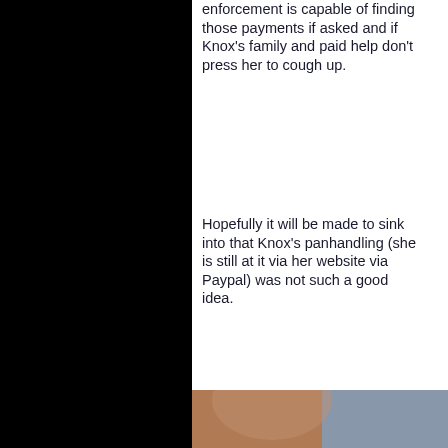enforcement is capable of finding those payments if asked and if Knox's family and paid help don't press her to cough up.
Hopefully it will be made to sink into that Knox's panhandling (she is still at it via her website via Paypal) was not such a good idea.
[Figure (photo): Partial photo of a person's face/head, cropped at bottom of page]